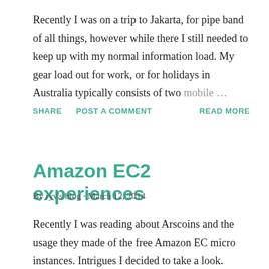Recently I was on a trip to Jakarta, for pipe band of all things, however while there I still needed to keep up with my normal information load. My gear load out for work, or for holidays in Australia typically consists of two mobile ...
SHARE   POST A COMMENT   READ MORE
Amazon EC2 experiences
By ryv's blog · March 12, 2014
Recently I was reading about Arscoins and the usage they made of the free Amazon EC micro instances. Intrigues I decided to take a look. Amazon have a free tier of services.